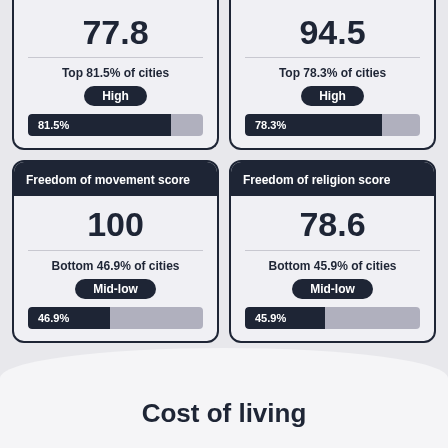[Figure (infographic): Score card showing 77.8, Top 81.5% of cities, High badge, 81.5% bar]
[Figure (infographic): Score card showing 94.5, Top 78.3% of cities, High badge, 78.3% bar]
[Figure (infographic): Freedom of movement score card: 100, Bottom 46.9% of cities, Mid-low badge, 46.9% bar]
[Figure (infographic): Freedom of religion score card: 78.6, Bottom 45.9% of cities, Mid-low badge, 45.9% bar]
✓
Cost of living